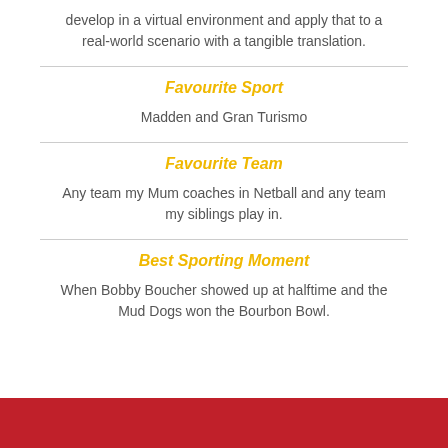develop in a virtual environment and apply that to a real-world scenario with a tangible translation.
Favourite Sport
Madden and Gran Turismo
Favourite Team
Any team my Mum coaches in Netball and any team my siblings play in.
Best Sporting Moment
When Bobby Boucher showed up at halftime and the Mud Dogs won the Bourbon Bowl.